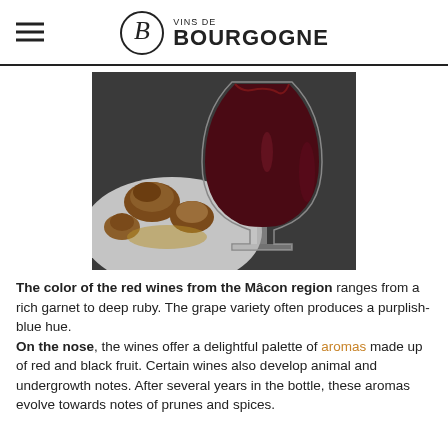VINS DE BOURGOGNE
[Figure (photo): Close-up photo of a glass of deep ruby-red wine next to roasted food items (appears to be stuffed mushrooms or similar) on a white plate, dark background.]
The color of the red wines from the Mâcon region ranges from a rich garnet to deep ruby. The grape variety often produces a purplish-blue hue.
On the nose, the wines offer a delightful palette of aromas made up of red and black fruit. Certain wines also develop animal and undergrowth notes. After several years in the bottle, these aromas evolve towards notes of prunes and spices.